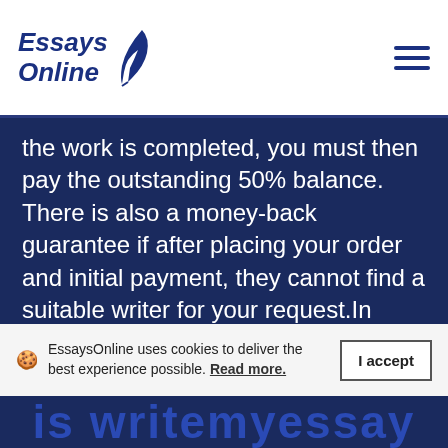Essays Online
the work is completed, you must then pay the outstanding 50% balance. There is also a money-back guarantee if after placing your order and initial payment, they cannot find a suitable writer for your request.In terms of payment methods, https://writemyessay.help/ accepts credit cards, debit cards, and PayPal. This should be plenty to allow for a quick and easy transaction. They also have secure payments and keep your personal information safe. Specific card payment accepted includes Visa, American Express, Disc... and Master Card...
EssaysOnline uses cookies to deliver the best experience possible. Read more.
is writemyessay